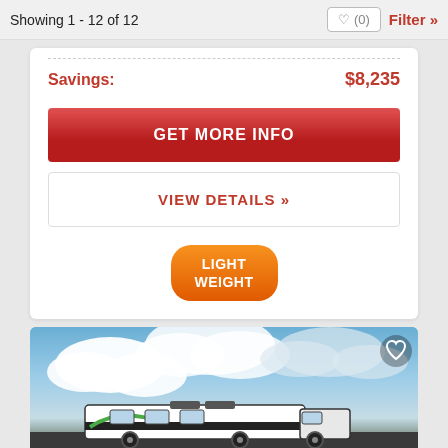Showing 1 - 12 of 12  ♡ (0)  Filter »
Savings: $8,235
GET MORE INFO
VIEW DETAILS »
LIGHT WEIGHT
[Figure (photo): Photo of an RV/travel trailer against a blue sky with white clouds]